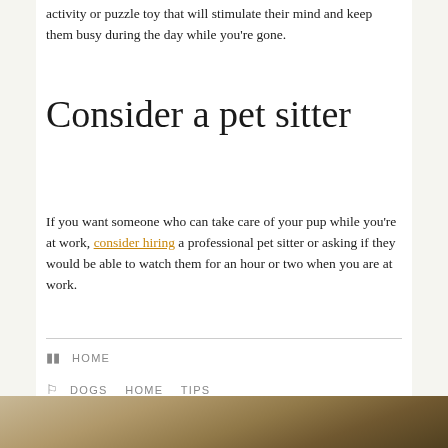activity or puzzle toy that will stimulate their mind and keep them busy during the day while you're gone.
Consider a pet sitter
If you want someone who can take care of your pup while you're at work, consider hiring a professional pet sitter or asking if they would be able to watch them for an hour or two when you are at work.
HOME
DOGS   HOME   TIPS
[Figure (photo): Bottom partial photo of a dog, brown/tan tones]